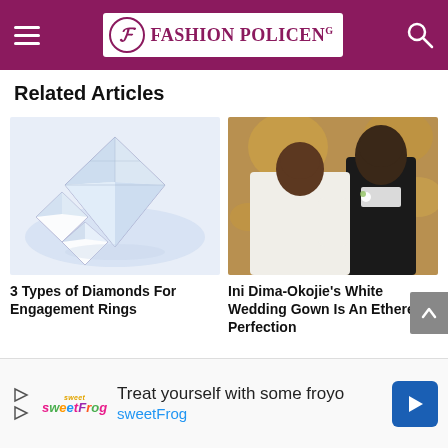Fashion PolicenG
Related Articles
[Figure (photo): Three sparkling diamond gems on white background]
[Figure (photo): Ini Dima-Okojie and husband sharing a romantic moment at their wedding, bride in white gown and groom in black tuxedo]
3 Types of Diamonds For Engagement Rings
Ini Dima-Okojie's White Wedding Gown Is An Ethereal Perfection
[Figure (infographic): Advertisement: Treat yourself with some froyo - sweetFrog]